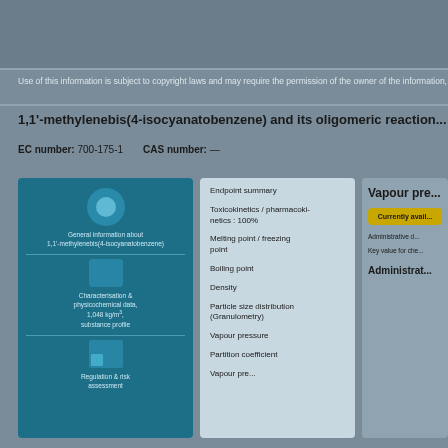Use of this information is subject to copyright laws and may require the permission of the owner of the information, translated from the National Library of Medicine
1,1'-methylenebis(4-isocyanatobenzene) and its oligomeric reaction products
EC number: 700-175-1    CAS number: —
[Figure (infographic): Blue information panel with icons representing data/information categories, including general information, characterisation & physicochemical data, and regulation & risk assessment]
Endpoint summary
Toxicokinetics / pharmacokinetics - dermal: 100%
Melting point / freezing point
Boiling point
Density
Particle size distribution (Granulometry)
Vapour pressure
Partition coefficient
Vapour pre...
Vapour pre
Currently avail...
Administrative d...
Key value for che...
Administrat...